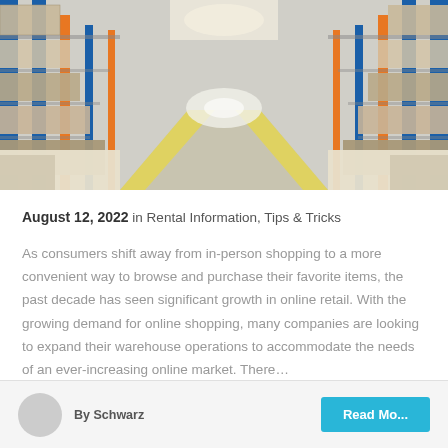[Figure (photo): Interior of a large warehouse with tall blue and orange metal shelving racks stocked with goods on both sides, stretching into the distance with a bright lit aisle and yellow floor marking lines.]
August 12, 2022 in Rental Information, Tips & Tricks
As consumers shift away from in-person shopping to a more convenient way to browse and purchase their favorite items, the past decade has seen significant growth in online retail. With the growing demand for online shopping, many companies are looking to expand their warehouse operations to accommodate the needs of an ever-increasing online market. There…
By Schwarz
Read Mo…